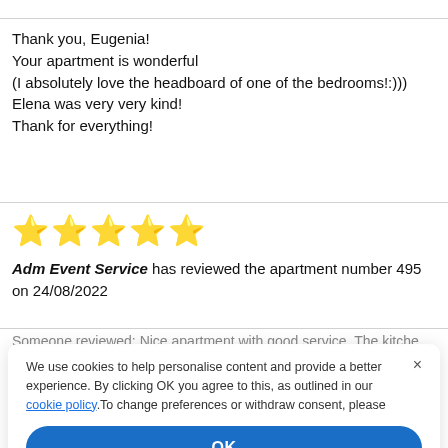Thank you, Eugenia!
Your apartment is wonderful
(I absolutely love the headboard of one of the bedrooms!:)))
Elena was very very kind!
Thank for everything!
[Figure (other): Five yellow star rating icons]
Adm Event Service has reviewed the apartment number 495 on 24/08/2022
We use cookies to help personalise content and provide a better experience. By clicking OK you agree to this, as outlined in our cookie policy.To change preferences or withdraw consent, please
OK
Cookie Preferences